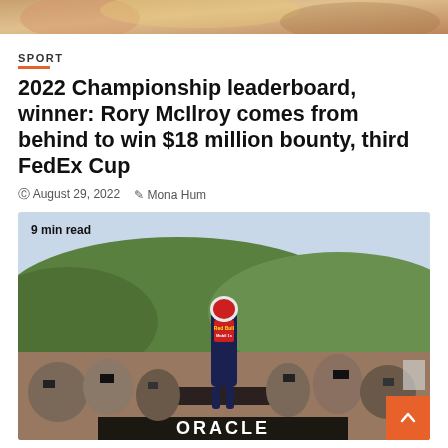[Figure (photo): Top banner image, partially visible, orange/brown tones]
SPORT
2022 Championship leaderboard, winner: Rory McIlroy comes from behind to win $18 million bounty, third FedEx Cup
August 29, 2022   Mona Hum
[Figure (photo): Formula 1 driver in Red Bull Oracle racing suit standing on car above crowd of photographers and spectators, with Green ORACLE branding visible on car. Text overlay: 9 min read]
SPORT